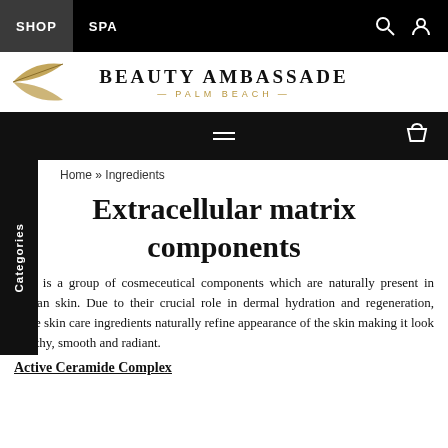SHOP  SPA
[Figure (logo): Beauty Ambassade Palm Beach logo with golden leaf icon and text]
≡ (hamburger menu) and cart icon
Home » Ingredients
Extracellular matrix components
This is a group of cosmeceutical components which are naturally present in human skin. Due to their crucial role in dermal hydration and regeneration, these skin care ingredients naturally refine appearance of the skin making it look healthy, smooth and radiant.
Active Ceramide Complex